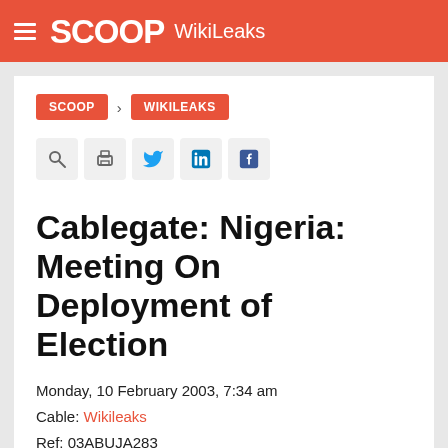SCOOP WikiLeaks
SCOOP > WIKILEAKS
[Figure (other): Row of icon buttons: search, print, Twitter, LinkedIn, Facebook]
Cablegate: Nigeria: Meeting On Deployment of Election
Monday, 10 February 2003, 7:34 am
Cable: Wikileaks
Ref: 03ABUJA283